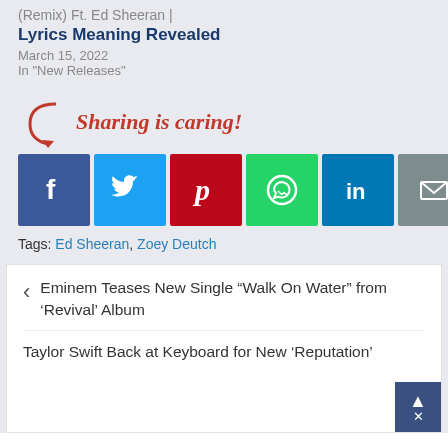(Remix) Ft. Ed Sheeran | Lyrics Meaning Revealed
March 15, 2022
In "New Releases"
[Figure (infographic): Sharing is caring! section with arrow graphic and social media share buttons: Facebook, Twitter, Pinterest, WhatsApp, LinkedIn, Email, More]
Tags: Ed Sheeran, Zoey Deutch
Eminem Teases New Single “Walk On Water” from ‘Revival’ Album
Taylor Swift Back at Keyboard for New ‘Reputation’